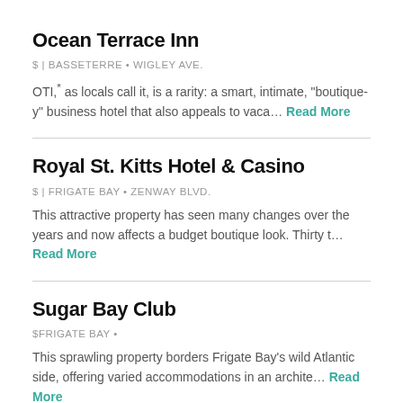Ocean Terrace Inn
$ | BASSETERRE • WIGLEY AVE.
OTI, as locals call it, is a rarity: a smart, intimate, "boutique-y" business hotel that also appeals to vaca... Read More
Royal St. Kitts Hotel & Casino
$ | FRIGATE BAY • ZENWAY BLVD.
This attractive property has seen many changes over the years and now affects a budget boutique look. Thirty t... Read More
Sugar Bay Club
$FRIGATE BAY •
This sprawling property borders Frigate Bay's wild Atlantic side, offering varied accommodations in an archite... Read More